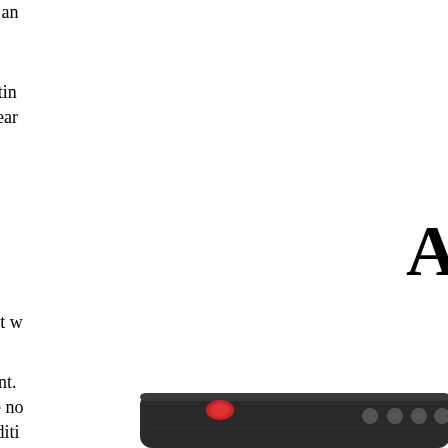around the mouth) differences an
Unfortunately, Yamaha discontin making the WX5 about four year
A
I got this in December, 2014. It w
This is an interesting instrument. editing program. The tones are no all can be improved through editi
[Figure (photo): Photo of a musical instrument (appears to be a Yamaha WX5 wind controller), showing the body of the device in dark gray/black with some buttons and controls visible]